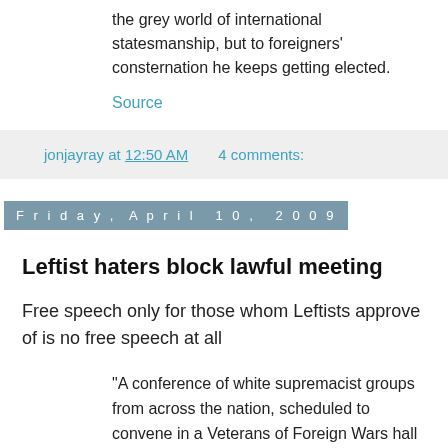the grey world of international statesmanship, but to foreigners' consternation he keeps getting elected.
Source
jonjayray at 12:50 AM    4 comments:
Friday, April 10, 2009
Leftist haters block lawful meeting
Free speech only for those whom Leftists approve of is no free speech at all
"A conference of white supremacist groups from across the nation, scheduled to convene in a Veterans of Foreign Wars hall in South Boston Saturday, has been canceled, a Boston "antihate"